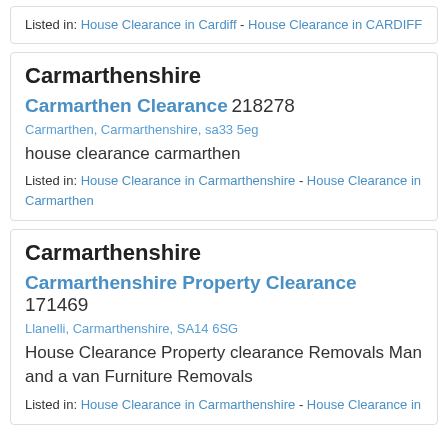Listed in: House Clearance in Cardiff - House Clearance in CARDIFF
Carmarthenshire
Carmarthen Clearance 218278
Carmarthen, Carmarthenshire, sa33 5eg
house clearance carmarthen
Listed in: House Clearance in Carmarthenshire - House Clearance in Carmarthen
Carmarthenshire
Carmarthenshire Property Clearance 171469
Llanelli, Carmarthenshire, SA14 6SG
House Clearance Property clearance Removals Man and a van Furniture Removals
Listed in: House Clearance in Carmarthenshire - House Clearance in